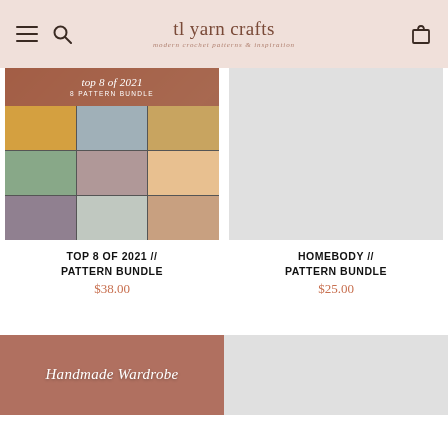tl yarn crafts — modern crochet patterns & inspiration
[Figure (photo): Collage of crochet shawl patterns labeled 'Top 8 of 2021 – 8 Pattern Bundle' showing multiple models wearing colorful crochet shawls]
TOP 8 OF 2021 // PATTERN BUNDLE
$38.00
[Figure (photo): Light gray placeholder image for Homebody Pattern Bundle product]
HOMEBODY // PATTERN BUNDLE
$25.00
[Figure (photo): Partial view of Handmade Wardrobe product thumbnail with dusty rose/mauve background and italic script text]
[Figure (photo): Partial light gray placeholder image for second bottom row product]